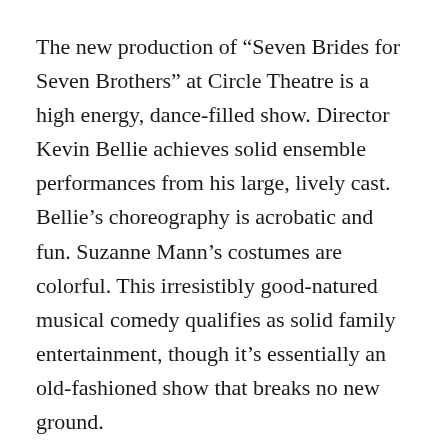The new production of “Seven Brides for Seven Brothers” at Circle Theatre is a high energy, dance-filled show. Director Kevin Bellie achieves solid ensemble performances from his large, lively cast. Bellie’s choreography is acrobatic and fun. Suzanne Mann’s costumes are colorful. This irresistibly good-natured musical comedy qualifies as solid family entertainment, though it’s essentially an old-fashioned show that breaks no new ground.
This musical is what it is. There’s never a dull moment. But the plot is slight, to say the least. The title gives you the whole story in a nutshell. There’s lots of flirting and fighting. The characters, especially the women, are pretty underwritten. The songs are mostly peppy but are